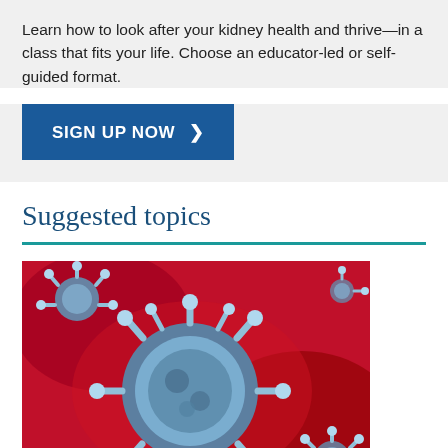Learn how to look after your kidney health and thrive—in a class that fits your life. Choose an educator-led or self-guided format.
SIGN UP NOW >
Suggested topics
[Figure (photo): Microscopic image of coronavirus/virus particles — blue-gray spiky spherical virus structures on a red background]
Kidney Disease and Coronavirus